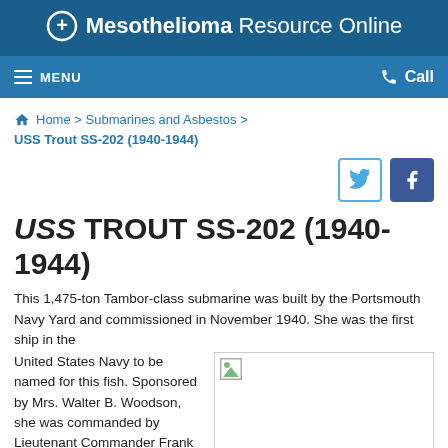Mesothelioma Resource Online
MENU | Call
Home > Submarines and Asbestos > USS Trout SS-202 (1940-1944)
USS TROUT SS-202 (1940-1944)
This 1,475-ton Tambor-class submarine was built by the Portsmouth Navy Yard and commissioned in November 1940. She was the first ship in the United States Navy to be named for this fish. Sponsored by Mrs. Walter B. Woodson, she was commanded by Lieutenant Commander Frank Wesley
[Figure (photo): Placeholder image for USS Trout SS-202 photograph]